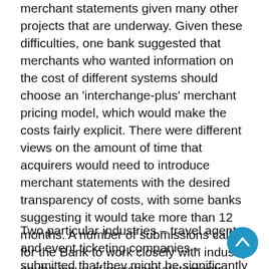merchant statements given many other projects that are underway. Given these difficulties, one bank suggested that merchants who wanted information on the cost of different systems should choose an 'interchange-plus' merchant pricing model, which would make the costs fairly explicit. There were different views on the amount of time that acquirers would need to introduce merchant statements with the desired transparency of costs, with some banks suggesting it would take more than 12 months. A number of submissions called for the Bank to work closely with industry on the issue of merchant statements.
Two particular industries – travel agents and event ticketing companies – submitted that they might be significantly disadvantaged by the proposed approach to surcharging. Both are subject to potentially large chargeback risk on cards: this is where a card transaction is reversed, with the cost falling on the